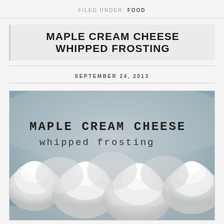FILED UNDER: FOOD
MAPLE CREAM CHEESE WHIPPED FROSTING
SEPTEMBER 24, 2013
[Figure (photo): Close-up photo of maple cream cheese whipped frosting piped on cupcakes, with text overlay reading MAPLE CREAM CHEESE whipped frosting in monospace font]